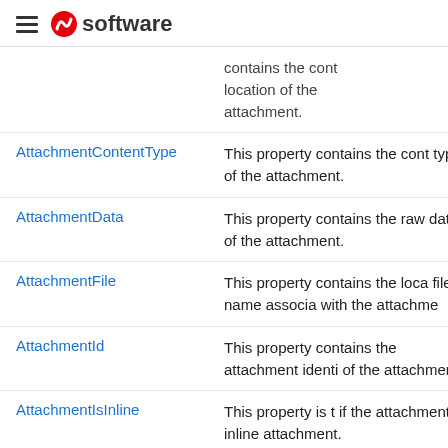software
| Property | Description |
| --- | --- |
|  | contains the content location of the attachment. |
| AttachmentContentType | This property contains the content type of the attachment. |
| AttachmentData | This property contains the raw data of the attachment. |
| AttachmentFile | This property contains the local file name associated with the attachment. |
| AttachmentId | This property contains the attachment identifier of the attachment. |
| AttachmentIsInline | This property is true if the attachment is an inline attachment. |
| AttachmentLastModifiedDate | This property |